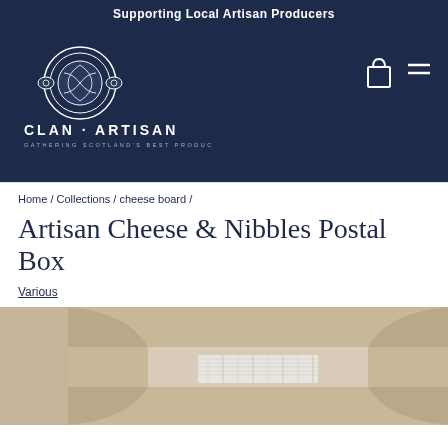Supporting Local Artisan Producers
[Figure (logo): Clan Artisan logo: circular Celtic knot emblem above text 'CLAN · ARTISAN' and tagline 'GATHERING SCOTLAND'S BEST PRODUCERS', on dark navy background. Cart icon and hamburger menu icon in top right.]
Home / Collections / cheese board /
Artisan Cheese & Nibbles Postal Box
Various
[Figure (photo): Open brown cardboard postal box viewed from above, with a white tartan-wrapped package inside, on a light beige background. A partial view of another item is on the left edge.]